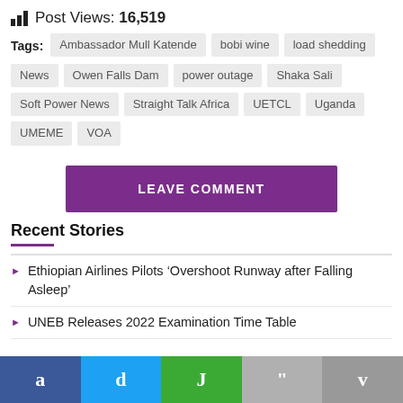Post Views: 16,519
Tags: Ambassador Mull Katende  bobi wine  load shedding  News  Owen Falls Dam  power outage  Shaka Sali  Soft Power News  Straight Talk Africa  UETCL  Uganda  UMEME  VOA
LEAVE COMMENT
Recent Stories
Ethiopian Airlines Pilots ‘Overshoot Runway after Falling Asleep’
UNEB Releases 2022 Examination Time Table
a  d  J  "  v